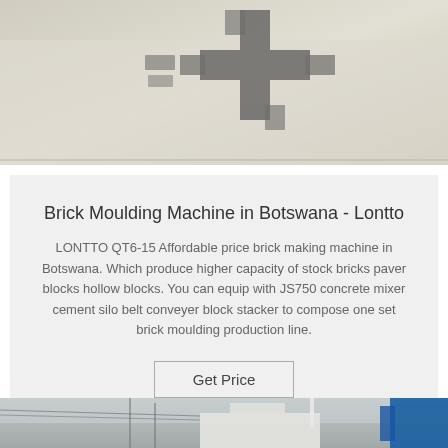[Figure (photo): Top portion of an aerial or overhead photo showing brick/block shapes or molds laid out on a light surface, with dark cross-shaped shadows.]
Brick Moulding Machine in Botswana - Lontto
LONTTO QT6-15 Affordable price brick making machine in Botswana. Which produce higher capacity of stock bricks paver blocks hollow blocks. You can equip with JS750 concrete mixer cement silo belt conveyer block stacker to compose one set brick moulding production line.
Get Price
[Figure (photo): Bottom portion of a photo showing a building exterior with trees, power lines, and a blue industrial machine or structure on the right side.]